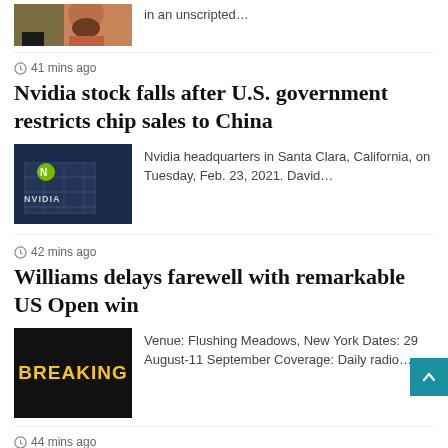[Figure (photo): Partial photo of a person, cropped at top]
in an unscripted…
41 mins ago
Nvidia stock falls after U.S. government restricts chip sales to China
[Figure (photo): Nvidia headquarters building with logo, dark blue exterior. Nvidia headquarters in Santa Clara, California, on Tuesday, Feb. 23, 2021. David…]
Nvidia headquarters in Santa Clara, California, on Tuesday, Feb. 23, 2021. David…
42 mins ago
Williams delays farewell with remarkable US Open win
[Figure (photo): Breaking news banner — black background with yellow BREAKING text. Venue: Flushing Meadows, New York Dates: 29 August-11 September Coverage: Daily radio…]
Venue: Flushing Meadows, New York Dates: 29 August-11 September Coverage: Daily radio…
44 mins ago
Ex-Trump Aides Say He Probably Has More